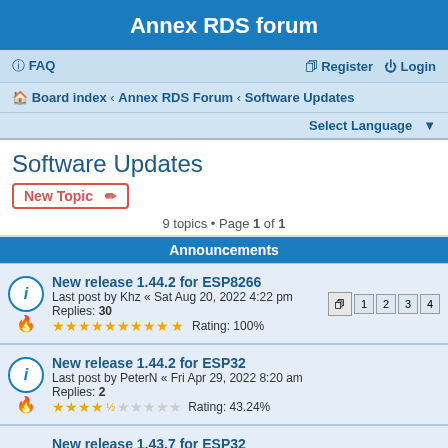Annex RDS forum
FAQ   Register   Login
Board index › Annex RDS Forum › Software Updates
Select Language ▼
Software Updates
New Topic
9 topics • Page 1 of 1
Announcements
New release 1.44.2 for ESP8266
Last post by Khz « Sat Aug 20, 2022 4:22 pm
Replies: 30
Rating: 100%
New release 1.44.2 for ESP32
Last post by PeterN « Fri Apr 29, 2022 8:20 am
Replies: 2
Rating: 43.24%
New release 1.43.7 for ESP32
Last post by cicciocb « Wed Apr 20, 2022 4:47 pm
Replies: 25
Rating: 32.43%